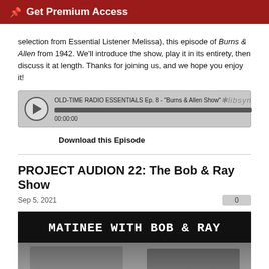Get Premium Access
selection from Essential Listener Melissa), this episode of Burns & Allen from 1942. We'll introduce the show, play it in its entirety, then discuss it at length. Thanks for joining us, and we hope you enjoy it!
[Figure (screenshot): Audio player widget for OLD-TIME RADIO ESSENTIALS Ep. 8 - "Burns & Allen Show" with libsyn branding, progress bar, and timestamp 00:00:00]
Download this Episode
PROJECT AUDION 22: The Bob & Ray Show
Sep 5, 2021
[Figure (photo): Black and white image titled 'MATINEE WITH BOB & RAY' in monospace white text on black background, with a black-and-white photograph of two men below]